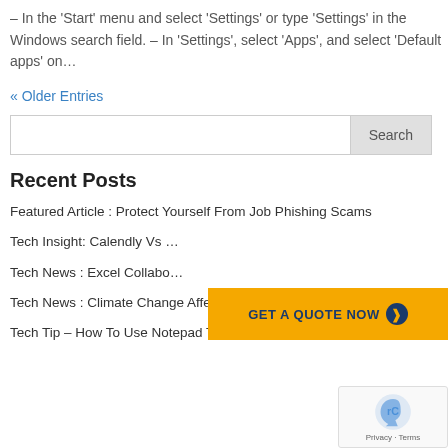– In the 'Start' menu and select 'Settings' or type 'Settings' in the Windows search field. – In 'Settings', select 'Apps', and select 'Default apps' on…
« Older Entries
Search
Recent Posts
Featured Article : Protect Yourself From Job Phishing Scams
Tech Insight: Calendly Vs …
Tech News : Excel Collabo…
Tech News : Climate Change Affecting Data Centres
Tech Tip – How To Use Notepad To Test Your Antivirus
[Figure (infographic): Orange CTA button overlay reading GET A QUOTE NOW with a circular arrow icon]
[Figure (other): reCAPTCHA widget showing the reCAPTCHA logo and Privacy · Terms text]